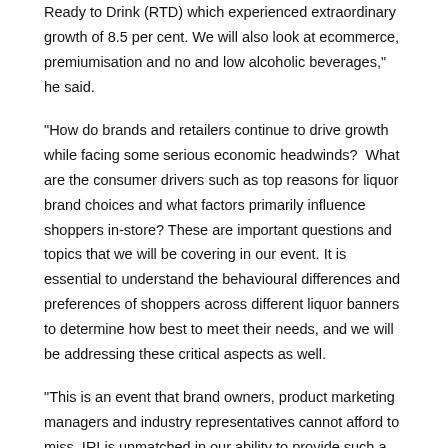Ready to Drink (RTD) which experienced extraordinary growth of 8.5 per cent. We will also look at ecommerce, premiumisation and no and low alcoholic beverages," he said.
"How do brands and retailers continue to drive growth while facing some serious economic headwinds?  What are the consumer drivers such as top reasons for liquor brand choices and what factors primarily influence shoppers in-store? These are important questions and topics that we will be covering in our event. It is essential to understand the behavioural differences and preferences of shoppers across different liquor banners to determine how best to meet their needs, and we will be addressing these critical aspects as well.
"This is an event that brand owners, product marketing managers and industry representatives cannot afford to miss. IRI is unmatched in our ability to provide such a clear and in-depth view of the industry and consumers, and we will be sharing our insights, knowledge and views on the state of liquor in Australia at this event," he said.